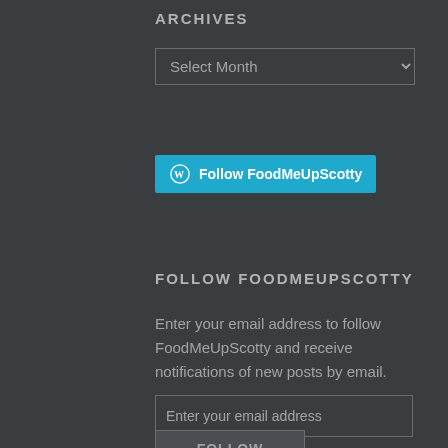ARCHIVES
[Figure (screenshot): A dropdown select element showing 'Select Month' placeholder text with a down arrow, on a dark background with a light border.]
[Figure (screenshot): A teal/cyan WordPress follow button with the WordPress logo icon and the text 'Follow FoodMeUpScotty']
FOLLOW FOODMEUPSCOTTY
Enter your email address to follow FoodMeUpScotty and receive notifications of new posts by email.
[Figure (screenshot): An email address input field with placeholder text 'Enter your email address' on dark background with light border]
[Figure (screenshot): A partially visible follow/submit button at the bottom of the page]